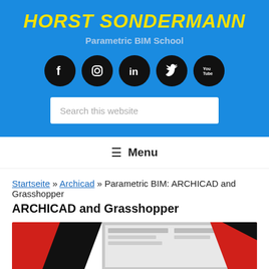HORST SONDERMANN
Parametric BIM School
[Figure (illustration): Five social media icons (Facebook, Instagram, LinkedIn, Twitter, YouTube) as black circles with white icons]
[Figure (screenshot): Search box with placeholder text: Search this website]
≡ Menu
Startseite » Archicad » Parametric BIM: ARCHICAD and Grasshopper
[Figure (screenshot): Partial preview image of ARCHICAD and Grasshopper content, showing red and black shapes with a software interface screenshot]